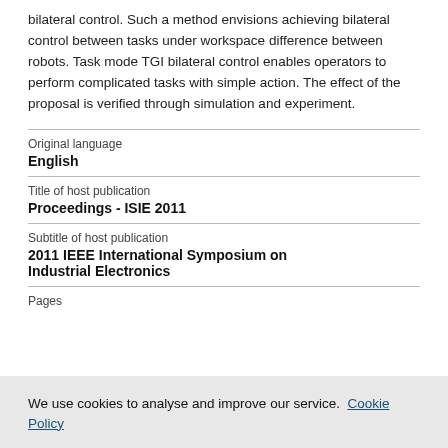bilateral control. Such a method envisions achieving bilateral control between tasks under workspace difference between robots. Task mode TGI bilateral control enables operators to perform complicated tasks with simple action. The effect of the proposal is verified through simulation and experiment.
| Original language | English |
| Title of host publication | Proceedings - ISIE 2011 |
| Subtitle of host publication | 2011 IEEE International Symposium on Industrial Electronics |
| Pages |  |
We use cookies to analyse and improve our service. Cookie Policy